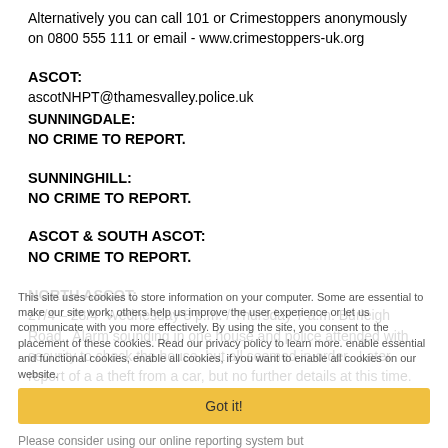Alternatively you can call 101 or Crimestoppers anonymously on 0800 555 111 or email - www.crimestoppers-uk.org
ASCOT:
ascotNHPT@thamesvalley.police.uk
SUNNINGDALE:
NO CRIME TO REPORT.
SUNNINGHILL:
NO CRIME TO REPORT.
ASCOT & SOUTH ASCOT:
NO CRIME TO REPORT.
NORTH ASCOT:
27/4 – 28/4  Wednesday 8 p.m. / Thursday 7 a.m.  Burleigh Road.  Alarm sounding in one house and police attended with security to check the house, but all seemed in order.  Later report of a a theft from a car, but no further details at this time.  Ref. No 43220181703
Please consider using our online reporting system but